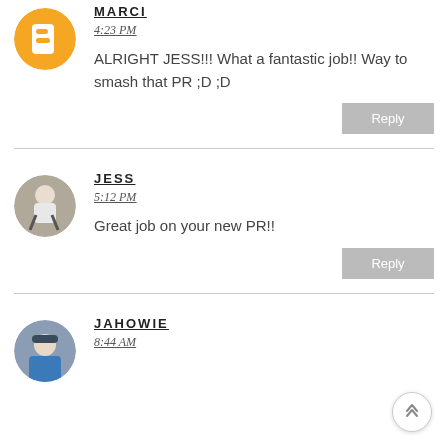[Figure (photo): Blogger orange avatar icon, circular]
MARCI
4:23 PM
ALRIGHT JESS!!! What a fantastic job!! Way to smash that PR ;D ;D
Reply
[Figure (photo): Photo of person running, circular avatar]
JESS
5:12 PM
Great job on your new PR!!
Reply
[Figure (photo): Photo of person with baseball cap, circular avatar]
JAHOWIE
8:44 AM